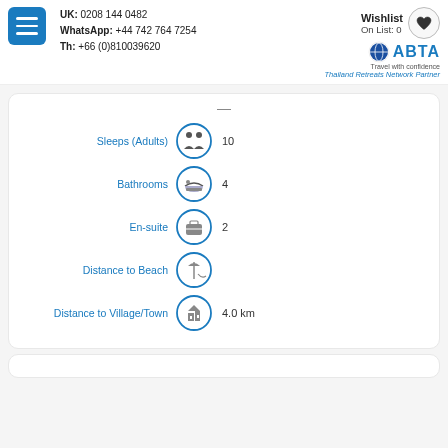UK: 0208 144 0482 | WhatsApp: +44 742 764 7254 | Th: +66 (0)810039620 | Wishlist On List: 0 | ABTA Travel with confidence | Thailand Retreats Network Partner
Sleeps (Adults) 10
Bathrooms 4
En-suite 2
Distance to Beach
Distance to Village/Town 4.0 km